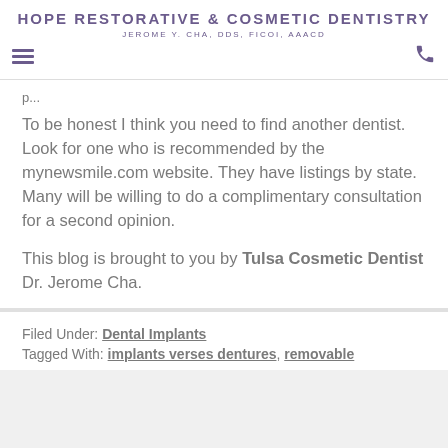HOPE RESTORATIVE & COSMETIC DENTISTRY
JEROME Y. CHA, DDS, FICOI, AAACD
To be honest I think you need to find another dentist. Look for one who is recommended by the mynewsmile.com website. They have listings by state. Many will be willing to do a complimentary consultation for a second opinion.
This blog is brought to you by Tulsa Cosmetic Dentist Dr. Jerome Cha.
Filed Under: Dental Implants
Tagged With: implants verses dentures, removable dentures missing teeth